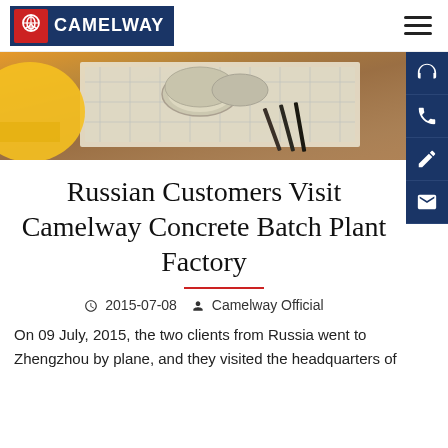CAMELWAY
[Figure (photo): Hero banner showing rolled blueprints/technical drawings, pencils on a wooden desk surface with a yellow hard hat visible at left edge]
Russian Customers Visit Camelway Concrete Batch Plant Factory
2015-07-08  Camelway Official
On 09 July, 2015, the two clients from Russia went to Zhengzhou by plane, and they visited the headquarters of